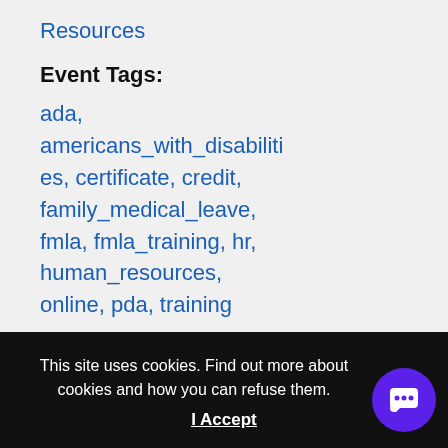Resources
Event Tags:
ada, americans_with_disabilities, certificate, credit, family_medical_leave, fmla, fmla_training, hr, human_resources, online, pda, training
Website:
https://www.goinglearning.com/event/2-day-
This site uses cookies. Find out more about cookies and how you can refuse them.
I Accept